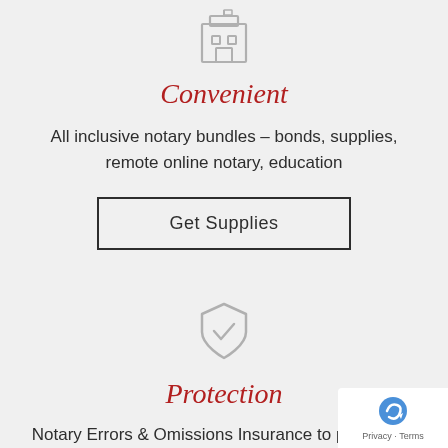[Figure (illustration): Icon of a building/institution rendered in gray outline style]
Convenient
All inclusive notary bundles – bonds, supplies, remote online notary, education
Get Supplies
[Figure (illustration): Shield with checkmark icon rendered in gray outline style]
Protection
Notary Errors & Omissions Insurance to protect the Notary